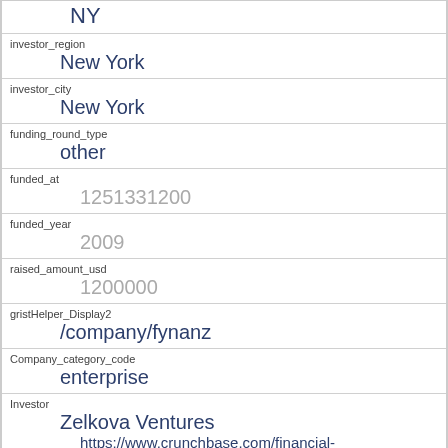| Field | Value |
| --- | --- |
|  | NY |
| investor_region | New York |
| investor_city | New York |
| funding_round_type | other |
| funded_at | 1251331200 |
| funded_year | 2009 |
| raised_amount_usd | 1200000 |
| gristHelper_Display2 | /company/fynanz |
| Company_category_code | enterprise |
| Investor | Zelkova Ventures |
|  | https://www.crunchbase.com/financial- |